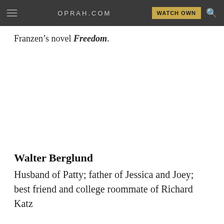OPRAH.COM
Franzen's novel Freedom.
Walter Berglund
Husband of Patty; father of Jessica and Joey; best friend and college roommate of Richard Katz